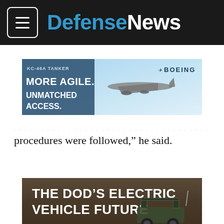DefenseNews
[Figure (photo): Boeing KC-46A Tanker advertisement banner: 'KC-46A TANKER MORE AGILE. UNMATCHED ACCESS.' with image of aircraft and Boeing logo on blue/sky background]
procedures were followed,” he said.
[Figure (photo): Promotional image: 'THE DOD'S ELECTRIC VEHICLE FUTURE' with photo of military electric utility vehicle (UTV/side-by-side) in desert/dirt environment]